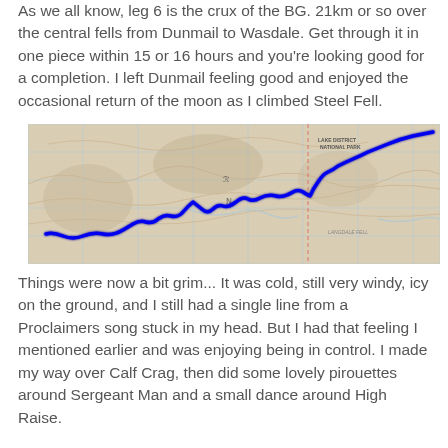As we all know, leg 6 is the crux of the BG. 21km or so over the central fells from Dunmail to Wasdale. Get through it in one piece within 15 or 16 hours and you're looking good for a completion. I left Dunmail feeling good and enjoyed the occasional return of the moon as I climbed Steel Fell.
[Figure (map): Topographic map of the Lake District National Park showing a blue route line tracing a path over the central fells from Dunmail to Wasdale area, with terrain contours visible underneath.]
Things were now a bit grim... It was cold, still very windy, icy on the ground, and I still had a single line from a Proclaimers song stuck in my head. But I had that feeling I mentioned earlier and was enjoying being in control. I made my way over Calf Crag, then did some lovely pirouettes around Sergeant Man and a small dance around High Raise.